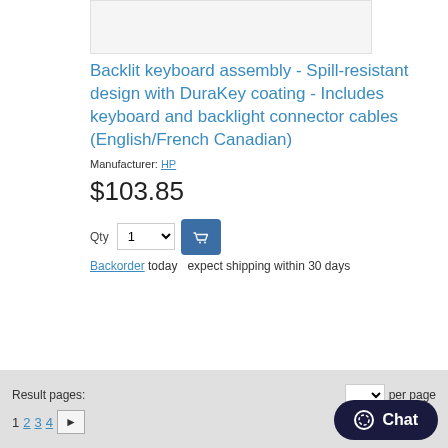[Figure (photo): Product image placeholder (white/light gray rectangle)]
Backlit keyboard assembly - Spill-resistant design with DuraKey coating - Includes keyboard and backlight connector cables (English/French Canadian)
Manufacturer: HP
$103.85
Qty 1 [dropdown] [Add to cart button]
Backorder today   expect shipping within 30 days
Result pages:   [per page dropdown]   1  2  3  4  [next]   Chat